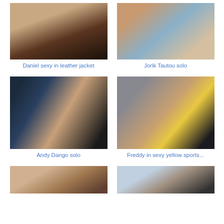[Figure (photo): Male model photo - Daniel sexy in leather jacket]
Daniel sexy in leather jacket
[Figure (photo): Male model photo - Jorik Tautou solo]
Jorik Tautou solo
[Figure (photo): Male model photo - Andy Dango solo]
Andy Dango solo
[Figure (photo): Male model photo - Freddy in sexy yellow sports...]
Freddy in sexy yellow sports...
[Figure (photo): Male model photo - bottom left partial]
[Figure (photo): Male model photo - bottom right partial]